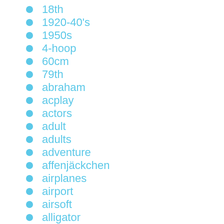18th
1920-40's
1950s
4-hoop
60cm
79th
abraham
acplay
actors
adult
adults
adventure
affenjäckchen
airplanes
airport
airsoft
alligator
amazing